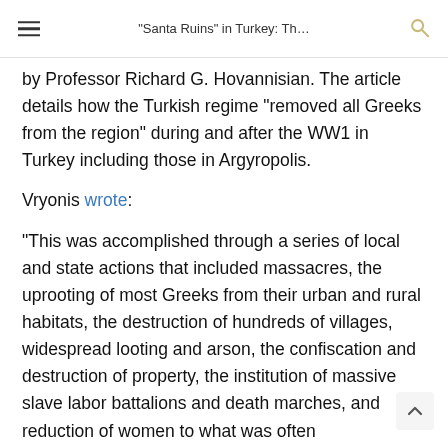“Santa Ruins” in Turkey: Th…
by Professor Richard G. Hovannisian. The article details how the Turkish regime “removed all Greeks from the region” during and after the WW1 in Turkey including those in Argyropolis.
Vryonis wrote:
“This was accomplished through a series of local and state actions that included massacres, the uprooting of most Greeks from their urban and rural habitats, the destruction of hundreds of villages, widespread looting and arson, the confiscation and destruction of property, the institution of massive slave labor battalions and death marches, and reduction of women to what was often unremunerated